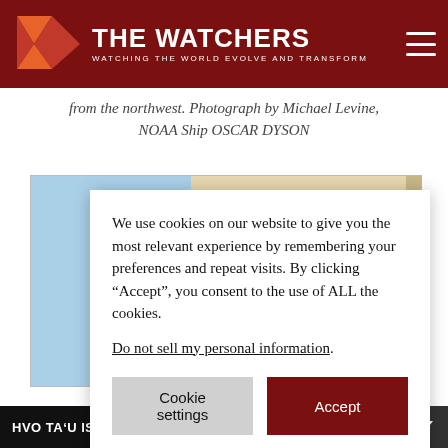THE WATCHERS - WATCHING THE WORLD EVOLVE AND TRANSFORM
from the northwest. Photograph by Michael Levine, NOAA Ship OSCAR DYSON
[Figure (map): Map of Alaska showing Aleutian Islands chain and surrounding Pacific Ocean, with inset thumbnail of Alaska overview and labeled locations including Fairbanks, Adak, Kiska Island, Atka, Pacific Ocean.]
We use cookies on our website to give you the most relevant experience by remembering your preferences and repeat visits. By clicking “Accept”, you consent to the use of ALL the cookies.
Do not sell my personal information.
HVO TA‘U ISLAND YELLOW/ADVISORY - TA‘Û ISLA